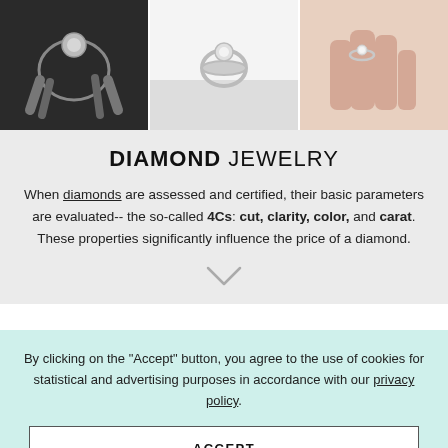[Figure (photo): Three jewelry photos side by side: left is black-and-white close-up of diamond ring being held, center is a solitaire ring on white surface, right is a hand wearing a diamond ring.]
DIAMOND JEWELRY
When diamonds are assessed and certified, their basic parameters are evaluated-- the so-called 4Cs: cut, clarity, color, and carat. These properties significantly influence the price of a diamond.
[Figure (illustration): Chevron/down arrow icon]
By clicking on the "Accept" button, you agree to the use of cookies for statistical and advertising purposes in accordance with our privacy policy.
ACCEPT